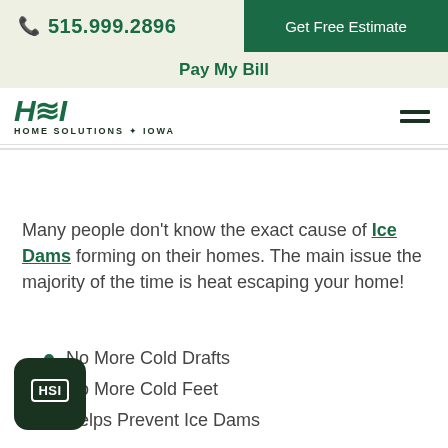📞 515.999.2896  |  Get Free Estimate  |  Pay My Bill
[Figure (logo): HSI Home Solutions of Iowa logo with hamburger menu icon]
Many people don't know the exact cause of Ice Dams forming on their homes. The main issue the majority of the time is heat escaping your home!
No More Cold Drafts
No More Cold Feet
Helps Prevent Ice Dams